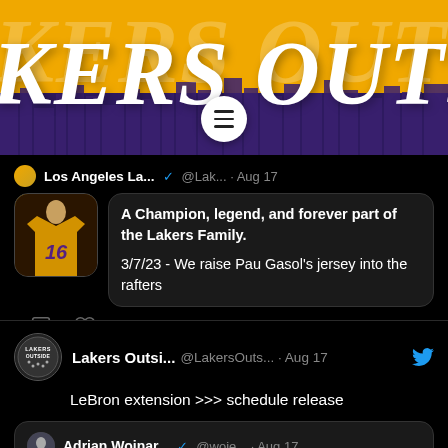[Figure (screenshot): Lakers Outsiders website header banner with yellow and purple background, city skyline silhouette, and hamburger menu icon]
[Figure (screenshot): Tweet from Los Angeles Lakers account dated Aug 17: 'A Champion, legend, and forever part of the Lakers Family. 3/7/23 - We raise Pau Gasol's jersey into the rafters' with Pau Gasol avatar image. 15 likes shown.]
[Figure (screenshot): Tweet from Lakers Outsiders (@LakersOuts...) dated Aug 17: 'LeBron extension >>> schedule release'. Includes partial quoted tweet from Adrian Wojnar... @woje... Aug 17]